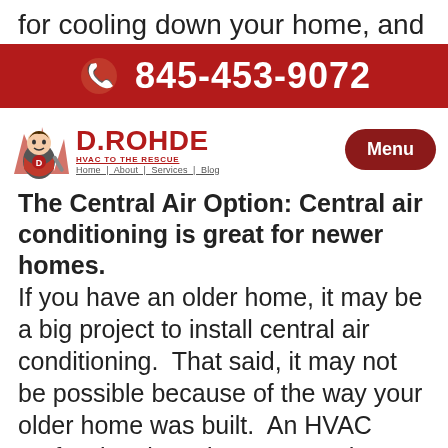for cooling down your home, and
[Figure (infographic): Red banner with white phone icon and phone number 845-453-9072]
time and money.
[Figure (logo): D.ROHDE logo with superhero mascot and tagline HVAC TO THE RESCUE]
[Figure (other): Menu button (dark red rounded rectangle)]
The Central Air Option: Central air conditioning is great for newer homes.
If you have an older home, it may be a big project to install central air conditioning.  That said, it may not be possible because of the way your older home was built.  An HVAC professional can inspect your home and let you know if it is possible to install central air.  The process of